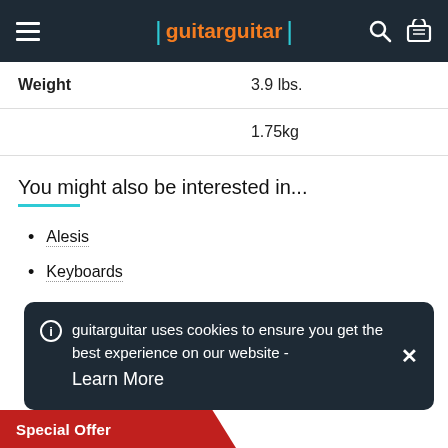guitarguitar
|  |  |
| --- | --- |
| Weight | 3.9 lbs. |
|  | 1.75kg |
You might also be interested in...
Alesis
Keyboards
guitarguitar uses cookies to ensure you get the best experience on our website - Learn More
Special Offer